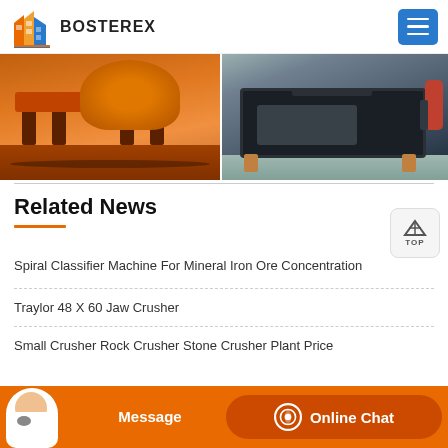[Figure (logo): Bosterex logo with building icon and text BOSTEREX]
[Figure (photo): Two industrial machinery photos side by side: left shows orange/red industrial equipment in a factory, right shows a heavy black metal frame structure on a factory floor]
Related News
Spiral Classifier Machine For Mineral Iron Ore Concentration
Traylor 48 X 60 Jaw Crusher
Small Crusher Rock Crusher Stone Crusher Plant Price
Message | Online Chat